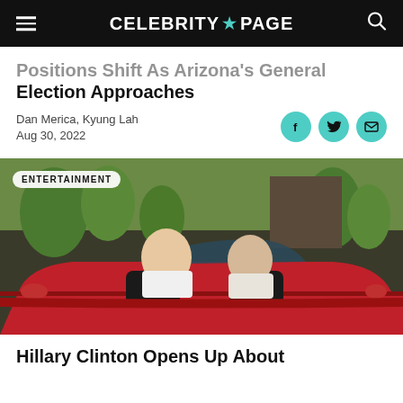CELEBRITY★PAGE
...Positions Shift As Arizona's General Election Approaches
Dan Merica, Kyung Lah
Aug 30, 2022
[Figure (photo): Two women sitting in a red convertible car, smiling at camera, with trees in background. Tag reads ENTERTAINMENT.]
Hillary Clinton Opens Up About